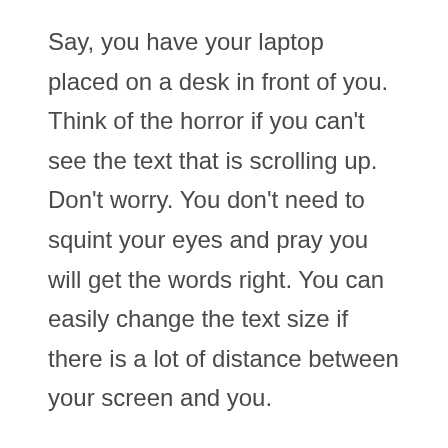Say, you have your laptop placed on a desk in front of you. Think of the horror if you can't see the text that is scrolling up. Don't worry. You don't need to squint your eyes and pray you will get the words right. You can easily change the text size if there is a lot of distance between your screen and you.
The fun part is, this Online Teleprompter is a responsive web application which means you don't